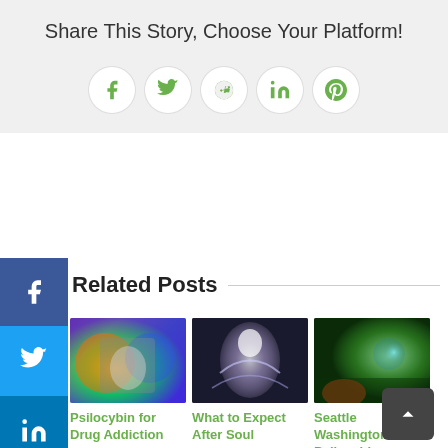Share This Story, Choose Your Platform!
[Figure (infographic): Social share icons: Facebook, Twitter, Reddit, LinkedIn, Pinterest — circular white buttons with green icons]
[Figure (infographic): Sidebar social share buttons: Facebook (blue), Twitter (light blue), LinkedIn (dark blue), and a left-arrow toggle button]
Related Posts
[Figure (photo): Psychedelic colorful image of a person with swirling colors]
Psilocybin for Drug Addiction
[Figure (photo): Digital art of an angel/spiritual figure with wings of light]
What to Expect After Soul
[Figure (photo): Fantasy forest scene with glowing orb and red-haired figure]
Seattle Washington Psilocybin